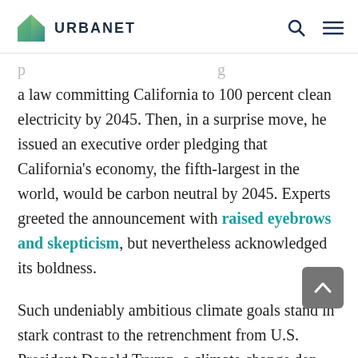URBANET
a law committing California to 100 percent clean electricity by 2045. Then, in a surprise move, he issued an executive order pledging that California's economy, the fifth-largest in the world, would be carbon neutral by 2045. Experts greeted the announcement with raised eyebrows and skepticism, but nevertheless acknowledged its boldness.
Such undeniably ambitious climate goals stand in stark contrast to the retrenchment from U.S. President Donald Trump, a climate change denier who pulled the world's second-largest polluter out of the Paris Agreement and rescinded his